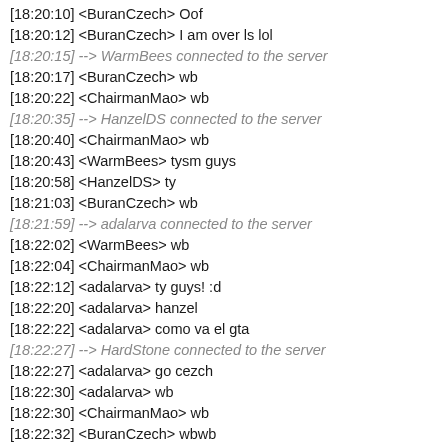[18:20:10] <BuranCzech> Oof
[18:20:12] <BuranCzech> I am over ls lol
[18:20:15] --> WarmBees connected to the server
[18:20:17] <BuranCzech> wb
[18:20:22] <ChairmanMao> wb
[18:20:35] --> HanzelDS connected to the server
[18:20:40] <ChairmanMao> wb
[18:20:43] <WarmBees> tysm guys
[18:20:58] <HanzelDS> ty
[18:21:03] <BuranCzech> wb
[18:21:59] --> adalarva connected to the server
[18:22:02] <WarmBees> wb
[18:22:04] <ChairmanMao> wb
[18:22:12] <adalarva> ty guys! :d
[18:22:20] <adalarva> hanzel
[18:22:22] <adalarva> como va el gta
[18:22:27] --> HardStone connected to the server
[18:22:27] <adalarva> go cezch
[18:22:30] <adalarva> wb
[18:22:30] <ChairmanMao> wb
[18:22:32] <BuranCzech> wbwb
[18:22:55] <BuranCzech> what airline u have on 737 max
[18:22:58] <HardStone> ty
[18:23:08] <HardStone> hi nub
[18:23:08] <ChairmanMao> fuck 23